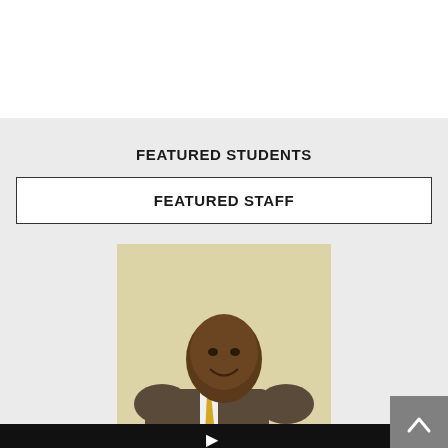FEATURED STUDENTS
FEATURED STAFF
[Figure (photo): Portrait photo of a man in a dark suit with a yellow tie, smiling, against a light yellow/beige background. A video player bar is visible at the bottom with a play button.]